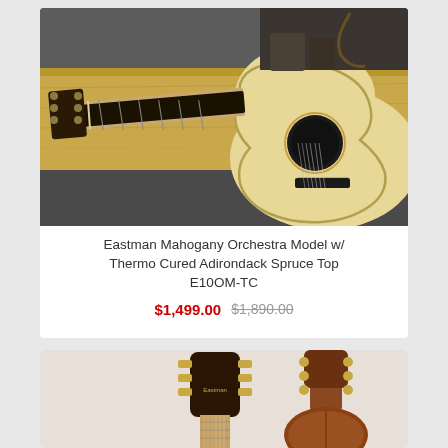[Figure (photo): Acoustic guitar (Eastman Mahogany Orchestra Model) laid flat on a wooden surface with dark background, viewed from above]
Eastman Mahogany Orchestra Model w/ Thermo Cured Adirondack Spruce Top E10OM-TC
$1,499.00 $1,890.00
[Figure (photo): Two views of a guitar: front headstock/neck view and back body view of a brown acoustic guitar]